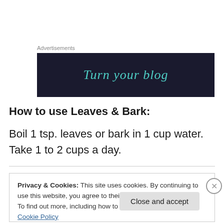Advertisements
[Figure (screenshot): Dark navy advertisement banner with teal italic text reading 'Turn your blog']
How to use Leaves & Bark:
Boil 1 tsp. leaves or bark in 1 cup water. Take 1 to 2 cups a day.
Privacy & Cookies: This site uses cookies. By continuing to use this website, you agree to their use.
To find out more, including how to control cookies, see here: Cookie Policy
Close and accept